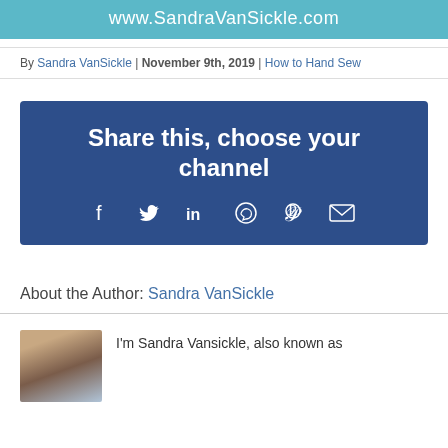www.SandraVanSickle.com
By Sandra VanSickle | November 9th, 2019 | How to Hand Sew
[Figure (infographic): Blue box with text 'Share this, choose your channel' and social media icons: Facebook, Twitter, LinkedIn, WhatsApp, Pinterest, Email]
About the Author: Sandra VanSickle
I'm Sandra Vansickle, also known as